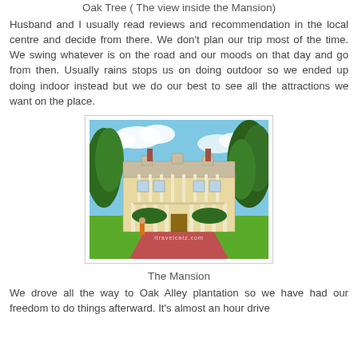Oak Tree ( The view inside the Mansion)
Husband and I usually read reviews and recommendation in the local centre and decide from there. We don't plan our trip most of the time. We swing whatever is on the road and our moods on that day and go from then. Usually rains stops us on doing outdoor so we ended up doing indoor instead but we do our best to see all the attractions we want on the place.
[Figure (photo): Photograph of a large white antebellum mansion (Oak Alley Plantation) with tall columns, surrounded by green trees and lawn. A person is visible walking toward the mansion. Watermark reads 'itravelcatz.com'.]
The Mansion
We drove all the way to Oak Alley plantation so we have had our freedom to do things afterward. It's almost an hour drive